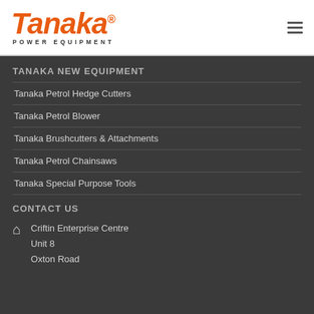[Figure (logo): Tanaka Power Equipment logo in orange italic font with registered trademark symbol and 'POWER EQUIPMENT' subtitle in dark letters]
TANAKA NEW EQUIPMENT
Tanaka Petrol Hedge Cutters
Tanaka Petrol Blower
Tanaka Brushcutters & Attachments
Tanaka Petrol Chainsaws
Tanaka Special Purpose Tools
CONTACT US
Criftin Enterprise Centre
Unit 8
Oxton Road